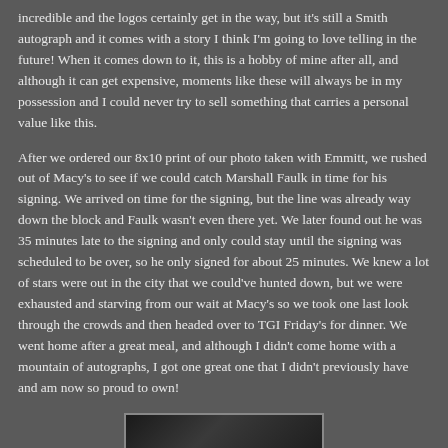incredible and the logos certainly get in the way, but it's still a Smith autograph and it comes with a story I think I'm going to love telling in the future! When it comes down to it, this is a hobby of mine after all, and although it can get expensive, moments like these will always be in my possession and I could never try to sell something that carries a personal value like this.

After we ordered our 8x10 print of our photo taken with Emmitt, we rushed out of Macy's to see if we could catch Marshall Faulk in time for his signing. We arrived on time for the signing, but the line was already way down the block and Faulk wasn't even there yet. We later found out he was 35 minutes late to the signing and only could stay until the signing was scheduled to be over, so he only signed for about 25 minutes. We knew a lot of stars were out in the city that we could've hunted down, but we were exhausted and starving from our wait at Macy's so we took one last look through the crowds and then headed over to TGI Friday's for dinner. We went home after a great meal, and although I didn't come home with a mountain of autographs, I got one great one that I didn't previously have and am now so proud to own!
[Figure (photo): Partially visible photo at bottom of page, appears to be a dark indoor scene]